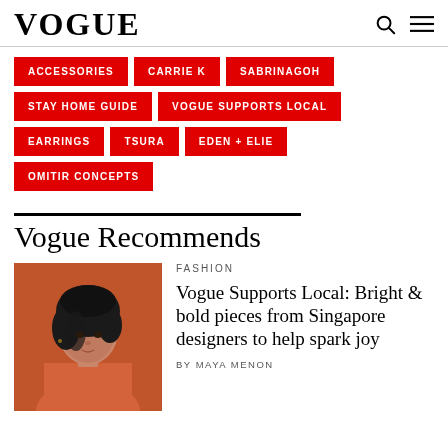VOGUE
ACCESSORIES
CARRIE K
SABRINAGOH
STAY HOME GUIDE
VOGUE SUPPORTS LOCAL
EARRINGS
TSURA
EDEN + ELIE
OMITIR CONCEPTS
Vogue Recommends
FASHION
Vogue Supports Local: Bright & bold pieces from Singapore designers to help spark joy
BY MAYA MENON
[Figure (photo): Woman with short dark hair wearing an orange/terracotta top, photographed against a warm reddish-orange background]